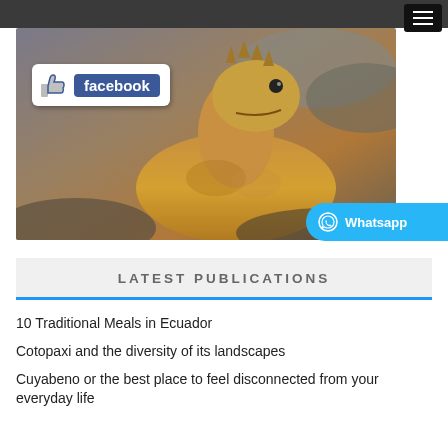[Figure (photo): A land iguana photographed close-up with rocky background, overlaid with a Facebook like button graphic and a Whatsapp button]
LATEST PUBLICATIONS
10 Traditional Meals in Ecuador
Cotopaxi and the diversity of its landscapes
Cuyabeno or the best place to feel disconnected from your everyday life